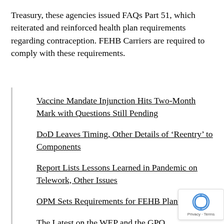Treasury, these agencies issued FAQs Part 51, which reiterated and reinforced health plan requirements regarding contraception. FEHB Carriers are required to comply with these requirements.
Vaccine Mandate Injunction Hits Two-Month Mark with Questions Still Pending
DoD Leaves Timing, Other Details of ‘Reentry’ to Components
Report Lists Lessons Learned in Pandemic on Telework, Other Issues
OPM Sets Requirements for FEHB Plans in 2023
The Latest on the WEP and the GPO
Rules Coming on Consideration of Prior Salaries in Pay Setting, Says OPM
Bill Offered to Put Trump Personnel Orders into Law